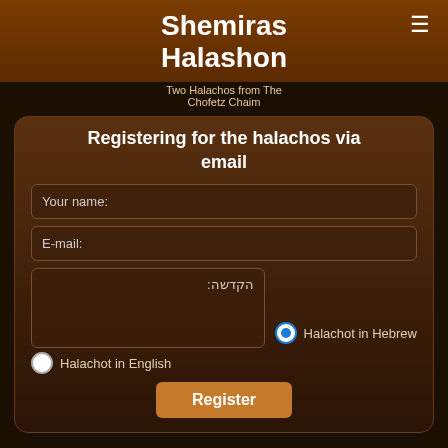Shemiras Halashon
Two Halachos from The Chofetz Chaim
Registering for the halachos via email
Your name:
E-mail:
הקדשה:
Halachot in Hebrew
Halachot in English
Register
אורייתא
• Tehilim • Shemiras Halashon • Mikve.net • Pirkei Avot •